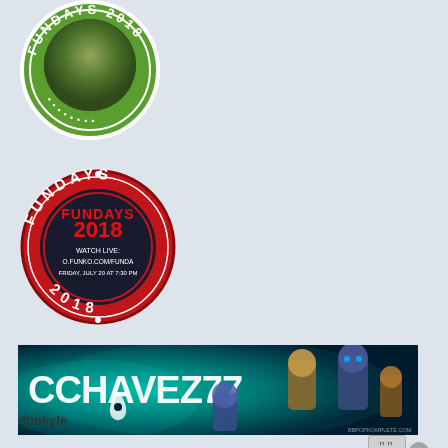[Figure (logo): Green circular badge with 'FUNDAYS 2018' text around the edge and a photo of robots/figures in the center]
[Figure (logo): Red circular badge with 'FUNDAYS 2018' text around the edge and inner dark circle containing 'FUNDAYS 2018 WATCH LIVE: O.FUNKO.COM/FUNDA FRIDAY, JULY 20 AT 7:30 PM' text]
[Figure (photo): Banner image with teal/green space background showing 'CCHAVEZ77' text with Destiny game logo and Funko Pop figures]
dtmkyle